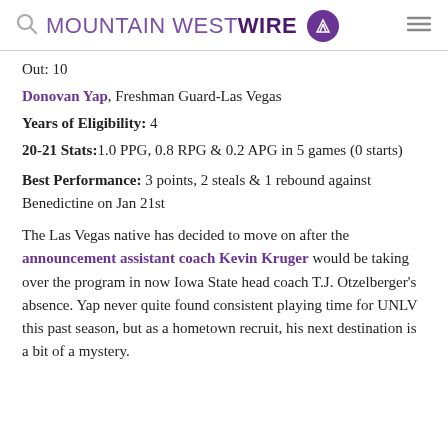MOUNTAIN WEST WIRE
Out: 10
Donovan Yap, Freshman Guard-Las Vegas
Years of Eligibility: 4
20-21 Stats:1.0 PPG, 0.8 RPG & 0.2 APG in 5 games (0 starts)
Best Performance: 3 points, 2 steals & 1 rebound against Benedictine on Jan 21st
The Las Vegas native has decided to move on after the announcement assistant coach Kevin Kruger would be taking over the program in now Iowa State head coach T.J. Otzelberger's absence. Yap never quite found consistent playing time for UNLV this past season, but as a hometown recruit, his next destination is a bit of a mystery.